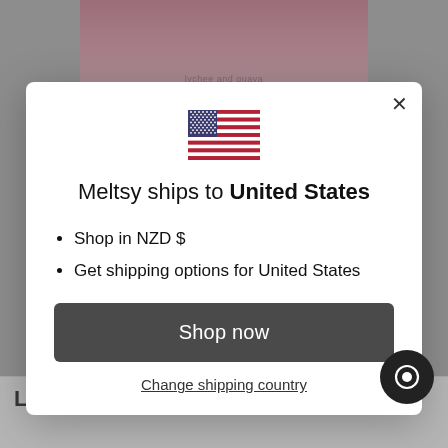[Figure (screenshot): US flag emoji displayed at center of modal]
Meltsy ships to United States
Shop in NZD $
Get shipping options for United States
Shop now
Change shipping country
Lychee and Guava Sorbet